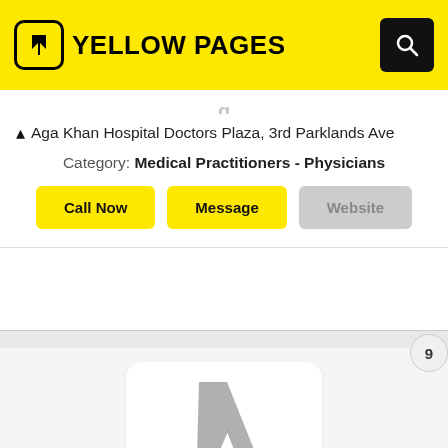YELLOW PAGES
Aga Khan Hospital Doctors Plaza, 3rd Parklands Ave
Category: Medical Practitioners - Physicians
Call Now | Message | Website
[Figure (photo): Yellow Pages logo placeholder image for Devani Dr Smita listing]
Devani, Dr Smita